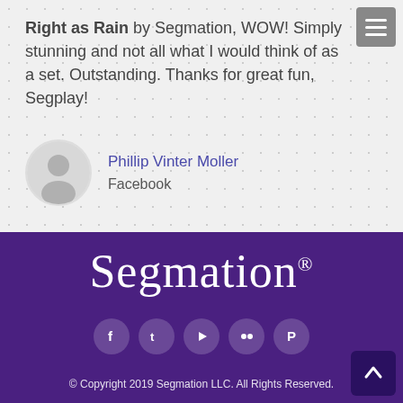Right as Rain by Segmation, WOW! Simply stunning and not all what I would think of as a set. Outstanding. Thanks for great fun, Segplay!
Phillip Vinter Moller
Facebook
[Figure (logo): Segmation logo in white serif font on purple background with registered trademark symbol]
[Figure (infographic): Row of social media icons: Facebook, Twitter, YouTube, Flickr, Pinterest on circular purple backgrounds]
© Copyright 2019 Segmation LLC. All Rights Reserved.